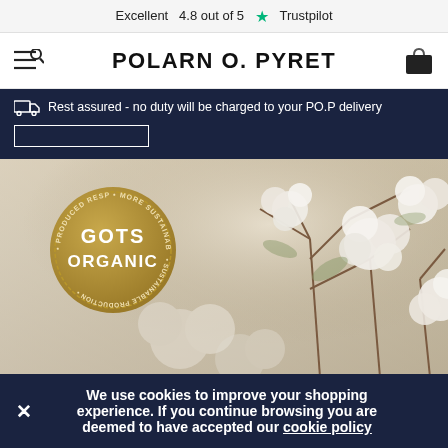Excellent 4.8 out of 5 ★ Trustpilot
POLARN O. PYRET
Rest assured - no duty will be charged to your PO.P delivery
[Figure (photo): Cotton field with white cotton bolls in bloom, warm sunlight, GOTS Organic circular gold badge overlaid on the left side of the image]
We use cookies to improve your shopping experience. If you continue browsing you are deemed to have accepted our cookie policy